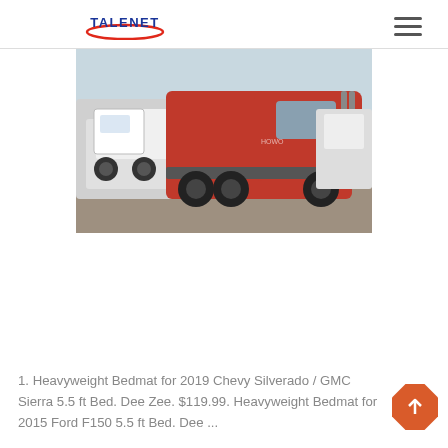TALENET [logo with hamburger menu icon]
[Figure (photo): A red heavy-duty tractor truck (semi-truck) parked in a lot with other white trucks in the background. The red truck is prominent in the foreground, side view, showing large wheels and red cab.]
1. Heavyweight Bedmat for 2019 Chevy Silverado / GMC Sierra 5.5 ft Bed. Dee Zee. $119.99. Heavyweight Bedmat for 2015 Ford F150 5.5 ft Bed. Dee ...